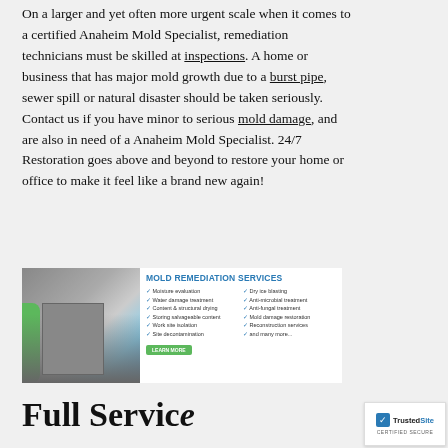On a larger and yet often more urgent scale when it comes to a certified Anaheim Mold Specialist, remediation technicians must be skilled at inspections. A home or business that has major mold growth due to a burst pipe, sewer spill or natural disaster should be taken seriously. Contact us if you have minor to serious mold damage, and are also in need of a Anaheim Mold Specialist. 24/7 Restoration goes above and beyond to restore your home or office to make it feel like a brand new again!
[Figure (infographic): Mold Remediation Services advertisement banner with a building photo on the left and a list of services on the right including: Moisture evaluation, Water damage treatment, Content & structural drying, Storing salvageable content, Work site isolation, Site decontamination, Dry ice blasting, Anti-microbial treatment, Anti-fungal treatment, Mold damage restoration, Reconstruction services, and many more. Has a Learn More button.]
[Figure (logo): TrustedSite CERTIFIED SECURE badge with blue checkmark]
Full Service